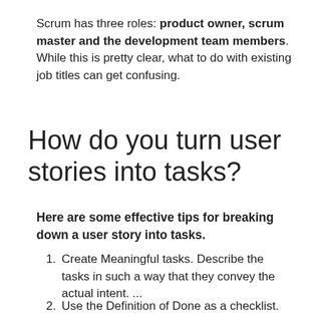Scrum has three roles: product owner, scrum master and the development team members. While this is pretty clear, what to do with existing job titles can get confusing.
How do you turn user stories into tasks?
Here are some effective tips for breaking down a user story into tasks.
Create Meaningful tasks. Describe the tasks in such a way that they convey the actual intent. ...
Use the Definition of Done as a checklist.